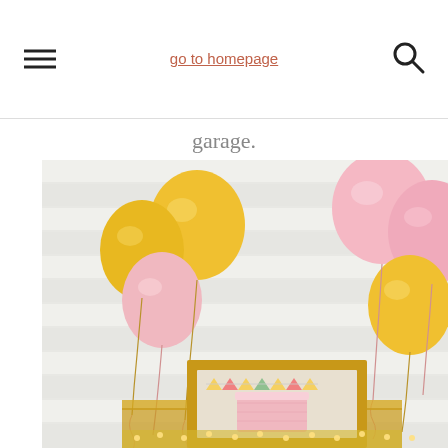go to homepage
garage.
[Figure (photo): Party scene with pink and gold balloons against white slatted wall, with a pink cake on a table inside a gold picture frame, and small bunting flags.]